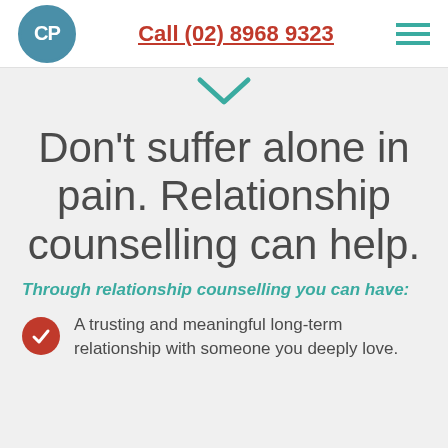CP | Call (02) 8968 9323
[Figure (illustration): Teal chevron/check-down arrow pointing downward]
Don't suffer alone in pain. Relationship counselling can help.
Through relationship counselling you can have:
A trusting and meaningful long-term relationship with someone you deeply love.